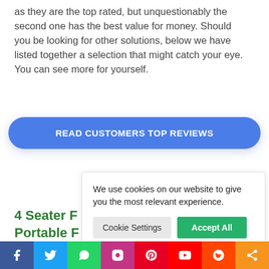as they are the top rated, but unquestionably the second one has the best value for money. Should you be looking for other solutions, below we have listed together a selection that might catch your eye. You can see more for yourself.
[Figure (other): Blue pill-shaped button with white bold text 'READ CUSTOMERS TOP REVIEWS']
4 Seater F… Portable F…
We use cookies on our website to give you the most relevant experience.
[Figure (other): Cookie consent overlay with 'Cookie Settings' and 'Accept All' buttons]
[Figure (other): Social media share bar with icons: Facebook, Twitter, WhatsApp, Instagram, Pinterest, YouTube, Reddit, Share]